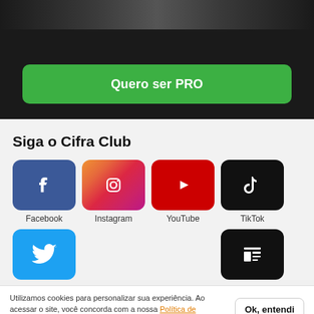[Figure (screenshot): Top dark banner with a green 'Quero ser PRO' button]
Quero ser PRO
Siga o Cifra Club
[Figure (logo): Facebook social media icon button]
[Figure (logo): Instagram social media icon button]
[Figure (logo): YouTube social media icon button]
[Figure (logo): TikTok social media icon button]
[Figure (logo): Twitter social media icon button]
[Figure (logo): Calendar/news icon button]
Utilizamos cookies para personalizar sua experiência. Ao acessar o site, você concorda com a nossa Política de Privacidade.
Ok, entendi
Músicas
Participe
Top Cifras
Crie sua conta grátis